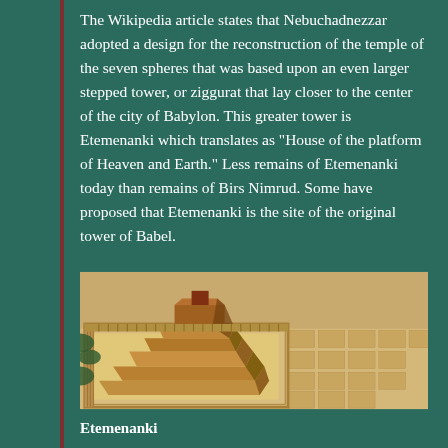The Wikipedia article states that Nebuchadnezzar adopted a design for the reconstruction of the temple of the seven spheres that was based upon an even larger stepped tower, or ziggurat that lay closer to the center of the city of Babylon. This greater tower is Etemenanki which translates as "House of the platform of Heaven and Earth." Less remains of Etemenanki today than remains of Birs Nimrud. Some have proposed that Etemenanki is the site of the original tower of Babel.
[Figure (illustration): Aerial artistic reconstruction of Etemenanki ziggurat complex in ancient Babylon, showing large stepped pyramid tower surrounded by colonnaded walls and city blocks in sandy/golden tones.]
Etemenanki